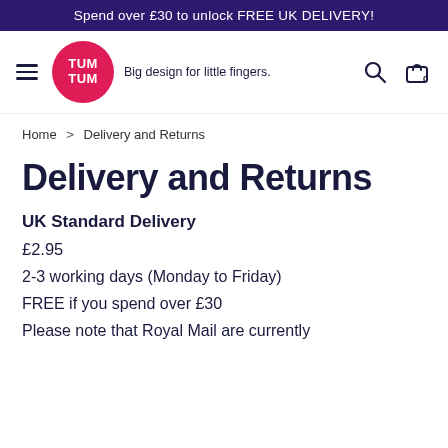Spend over £30 to unlock FREE UK DELIVERY!
[Figure (logo): Tum Tum logo — red circle with white TUM TUM text, tagline 'Big design for little fingers.']
Home > Delivery and Returns
Delivery and Returns
UK Standard Delivery
£2.95
2-3 working days (Monday to Friday)
FREE if you spend over £30
Please note that Royal Mail are currently